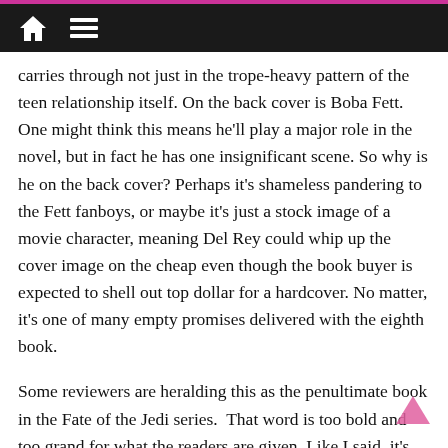🏠 ≡
carries through not just in the trope-heavy pattern of the teen relationship itself. On the back cover is Boba Fett. One might think this means he'll play a major role in the novel, but in fact he has one insignificant scene. So why is he on the back cover? Perhaps it's shameless pandering to the Fett fanboys, or maybe it's just a stock image of a movie character, meaning Del Rey could whip up the cover image on the cheap even though the book buyer is expected to shell out top dollar for a hardcover. No matter, it's one of many empty promises delivered with the eighth book.
Some reviewers are heralding this as the penultimate book in the Fate of the Jedi series.  That word is too bold and too grand for what the readers are given. Like I said, it's just a bad book. The barrage of editorial errors from Golden's last entry has been better addressed, although not nearly to the standard we see from